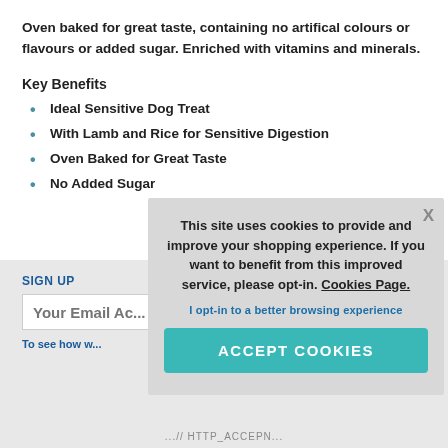Oven baked for great taste, containing no artifical colours or flavours or added sugar. Enriched with vitamins and minerals.
Key Benefits
Ideal Sensitive Dog Treat
With Lamb and Rice for Sensitive Digestion
Oven Baked for Great Taste
No Added Sugar
SIGN UP
Your Email Address
To see how w...
This site uses cookies to provide and improve your shopping experience. If you want to benefit from this improved service, please opt-in. Cookies Page.
I opt-in to a better browsing experience
ACCEPT COOKIES